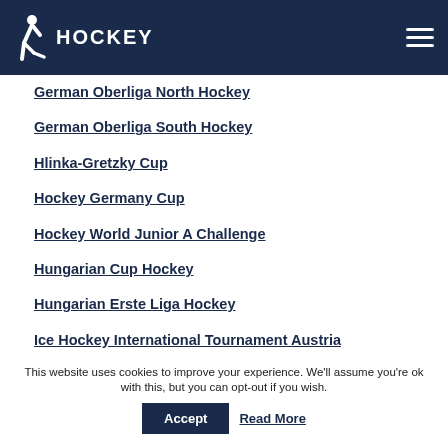HOCKEY
German Oberliga North Hockey
German Oberliga South Hockey
Hlinka-Gretzky Cup
Hockey Germany Cup
Hockey World Junior A Challenge
Hungarian Cup Hockey
Hungarian Erste Liga Hockey
Ice Hockey International Tournament Austria
Ice Hockey International Tournament Denmark
Ice Hockey International Tournament Hungary
Ice Hockey International Tournament Latvia
Ice Hockey International Tournament Poland
This website uses cookies to improve your experience. We'll assume you're ok with this, but you can opt-out if you wish.
Accept  Read More